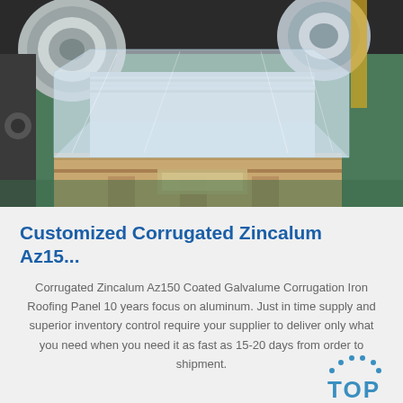[Figure (photo): Industrial photo showing corrugated metal sheets wrapped in clear plastic film on a wooden pallet, inside a factory or warehouse. Metal coils visible in the background on a green floor.]
Customized Corrugated Zincalum Az15...
Corrugated Zincalum Az150 Coated Galvalume Corrugation Iron Roofing Panel 10 years focus on aluminum. Just in time supply and superior inventory control require your supplier to deliver only what you need when you need it as fast as 15-20 days from order to shipment.
[Figure (logo): TOP badge logo with dotted arc above the word TOP in blue letters]
Get Price